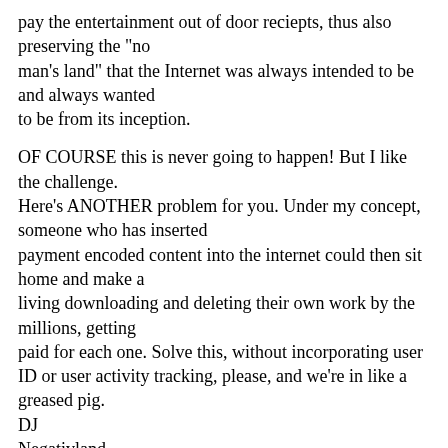pay the entertainment out of door reciepts, thus also preserving the "no man's land" that the Internet was always intended to be and always wanted to be from its inception.
OF COURSE this is never going to happen! But I like the challenge.
Here's ANOTHER problem for you. Under my concept, someone who has inserted payment encoded content into the internet could then sit home and make a living downloading and deleting their own work by the millions, getting paid for each one. Solve this, without incorporating user ID or user activity tracking, please, and we're in like a greased pig.
DJ
Negativland
>Don, your plan is a great utopian vision. I hope it happens, at least as an alternative to a more Orwellian future.
>
>Just a couple more comments:
>
>(cynical) POLITICS: if it happens, it will argueably be one of